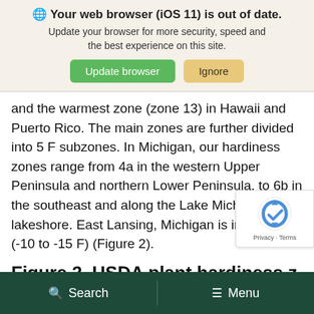[Figure (screenshot): Browser update notification banner with globe icon, bold title 'Your web browser (iOS 11) is out of date.', subtitle text, and two buttons: green 'Update browser' and tan 'Ignore']
and the warmest zone (zone 13) in Hawaii and Puerto Rico. The main zones are further divided into 5 F subzones. In Michigan, our hardiness zones range from 4a in the western Upper Peninsula and northern Lower Peninsula, to 6b in the southeast and along the Lake Michigan lakeshore. East Lansing, Michigan is in zone 5b (-10 to -15 F) (Figure 2).
Figure 2. USDA plant hardiness z… map for Michigan
[Figure (screenshot): reCAPTCHA badge overlay in bottom-right corner showing the reCAPTCHA logo and 'Privacy - Terms' text]
Search   Menu